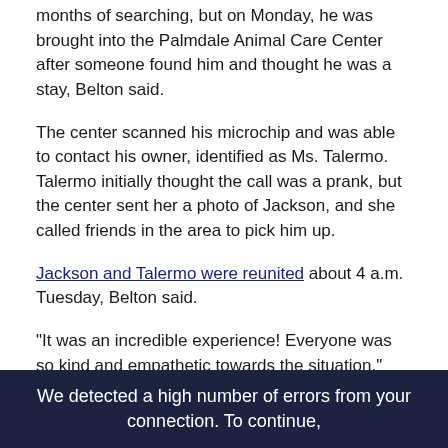The family gave up hope for finding Jackson after months of searching, but on Monday, he was brought into the Palmdale Animal Care Center after someone found him and thought he was a stay, Belton said.
The center scanned his microchip and was able to contact his owner, identified as Ms. Talermo. Talermo initially thought the call was a prank, but the center sent her a photo of Jackson, and she called friends in the area to pick him up.
Jackson and Talermo were reunited about 4 a.m. Tuesday, Belton said.
"It was an incredible experience! Everyone was so kind and empathetic towards the situation," Talermo said.
We detected a high number of errors from your connection. To continue,